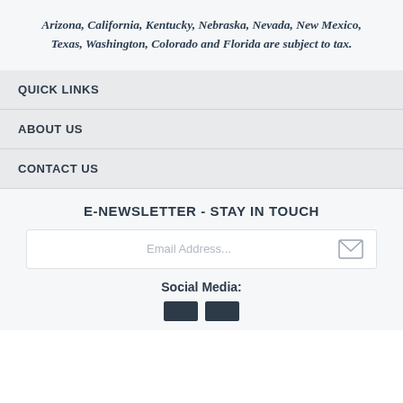Arizona, California, Kentucky, Nebraska, Nevada, New Mexico, Texas, Washington, Colorado and Florida are subject to tax.
QUICK LINKS
ABOUT US
CONTACT US
E-NEWSLETTER - STAY IN TOUCH
Email Address...
Social Media: